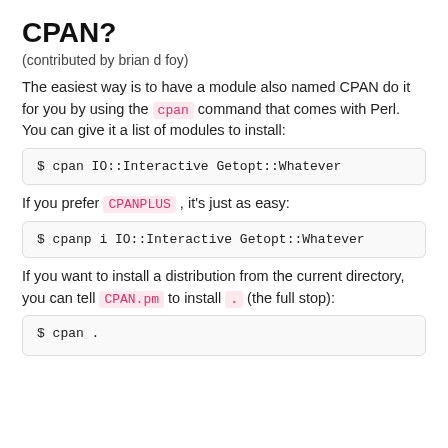CPAN?
(contributed by brian d foy)
The easiest way is to have a module also named CPAN do it for you by using the cpan command that comes with Perl. You can give it a list of modules to install:
$ cpan IO::Interactive Getopt::Whatever
If you prefer CPANPLUS , it's just as easy:
$ cpanp i IO::Interactive Getopt::Whatever
If you want to install a distribution from the current directory, you can tell CPAN.pm to install . (the full stop):
$ cpan .